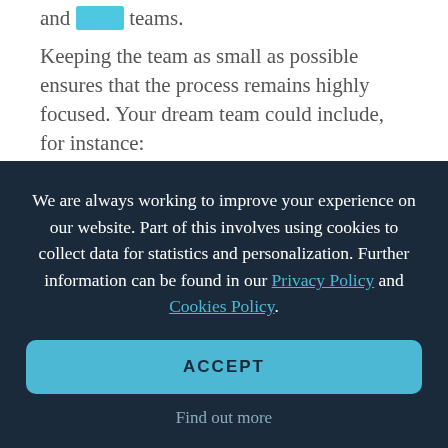and L&D teams.
Keeping the team as small as possible ensures that the process remains highly focused. Your dream team could include, for instance:
Team Leader. In short, team leaders are responsible for setting strategy, delegating tasks and monitoring progress towards goals.
We are always working to improve your experience on our website. Part of this involves using cookies to collect data for statistics and personalization. Further information can be found in our Privacy Policy and Cookies Policy.
ACCEPT
Find out more